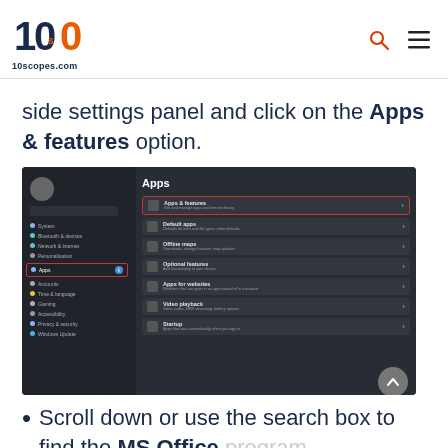10scopes.com
side settings panel and click on the Apps & features option.
[Figure (screenshot): Windows 11 Settings screenshot showing the Apps section with 'Apps & features' option highlighted in a red box. The left sidebar shows navigation items including System, Bluetooth & devices, Network & internet, Personalisation, Apps (highlighted with red box), Accounts, Time & language, Gaming, Accessibility, Privacy & security, Windows Update. The main panel shows Apps menu items: Apps & features, Default apps, Offline maps, Optional features, Apps for websites, Video playback, Startup.]
Scroll down or use the search box to find the MS Office program.